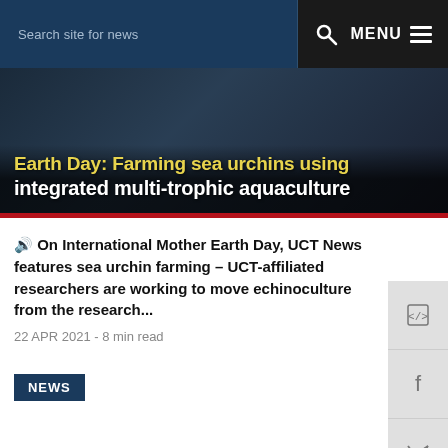Search site for news   MENU
Earth Day: Farming sea urchins using integrated multi-trophic aquaculture
🔊 On International Mother Earth Day, UCT News features sea urchin farming – UCT-affiliated researchers are working to move echinoculture from the research...
22 APR 2021 - 8 min read
NEWS